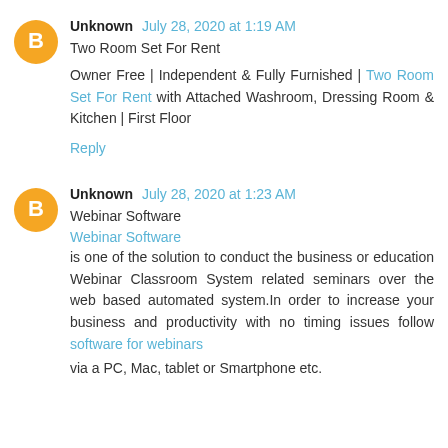Unknown July 28, 2020 at 1:19 AM
Two Room Set For Rent
Owner Free | Independent & Fully Furnished | Two Room Set For Rent with Attached Washroom, Dressing Room & Kitchen | First Floor
Reply
Unknown July 28, 2020 at 1:23 AM
Webinar Software
Webinar Software
is one of the solution to conduct the business or education Webinar Classroom System related seminars over the web based automated system.In order to increase your business and productivity with no timing issues follow software for webinars
via a PC, Mac, tablet or Smartphone etc.